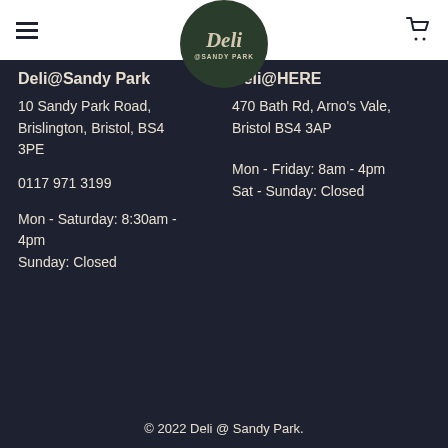Deli @Sandy Park — navigation header with logo
Deli@Sandy Park
10 Sandy Park Road, Brislington, Bristol, BS4 3PE
0117 971 3199
Mon - Saturday: 8:30am - 4pm
Sunday: Closed
Deli@HERE
470 Bath Rd, Arno's Vale, Bristol BS4 3AP
Mon - Friday: 8am - 4pm
Sat - Sunday: Closed
© 2022 Deli @ Sandy Park.